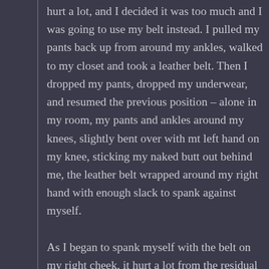hurt a lot, and I decided it was too much and I was going to use my belt instead. I pulled my pants back up from around my ankles, walked to my closet and took a leather belt. Then I dropped my pants, dropped my underwear, and resumed the previous position – alone in my room, my pants and ankles around my knees, slightly bent over with mt left hand on my knee, sticking my naked butt out behind me, the leather belt wrapped around my right hand with enough slack to spank against myself. As I began to spank myself with the belt on my right cheek, it hurt a lot from the residual sting of the spoon. After a few swats, I missed and hard to start over. This happened another times before I got